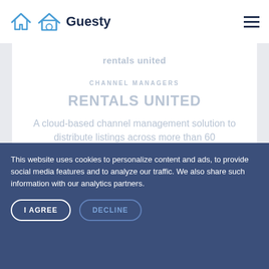Guesty
rentals united
CHANNEL MANAGERS
RENTALS UNITED
A cloud-based channel management solution to distribute listings across more than 60 booking channels worldwide.
This website uses cookies to personalize content and ads, to provide social media features and to analyze our traffic. We also share such information with our analytics partners.
I AGREE
DECLINE